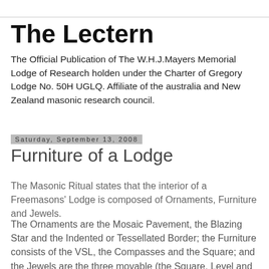The Lectern
The Official Publication of The W.H.J.Mayers Memorial Lodge of Research holden under the Charter of Gregory Lodge No. 50H UGLQ. Affiliate of the australia and New Zealand masonic research council.
Saturday, September 13, 2008
Furniture of a Lodge
The Masonic Ritual states that the interior of a Freemasons' Lodge is composed of Ornaments, Furniture and Jewels.
The Ornaments are the Mosaic Pavement, the Blazing Star and the Indented or Tessellated Border; the Furniture consists of the VSL, the Compasses and the Square; and the Jewels are the three movable (the Square, Level and Plumb-rule) and three immovable (the Tracing Board, Rough and Perfect Ashlars).